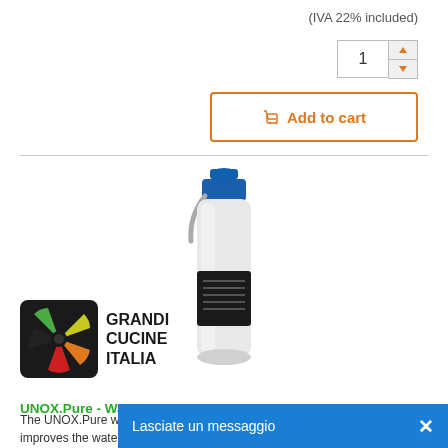(IVA 22% included)
1
Add to cart
[Figure (photo): Water filter/treatment system product — white cylindrical bottle with blue cap connector on top and a black label in the middle, with a grey tube attached at top.]
[Figure (logo): Grandi Cucine Italia logo — dark square with multicolor fan/pinwheel icon, text reads GRANDI CUCINE ITALIA]
UNOX.Pure - Water Treatment System
The UNOX.Pure water treatment system improves the water quality significant
Lasciate un messaggio